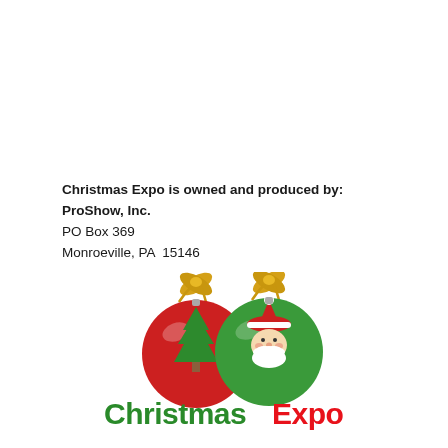Christmas Expo is owned and produced by:
ProShow, Inc.
PO Box 369
Monroeville, PA  15146
[Figure (logo): Christmas Expo logo: two ornament balls (red with green Christmas tree, green with Santa Claus face), each with gold ribbon bow on top, with 'ChristmasExpo' text below in green and red bold font]